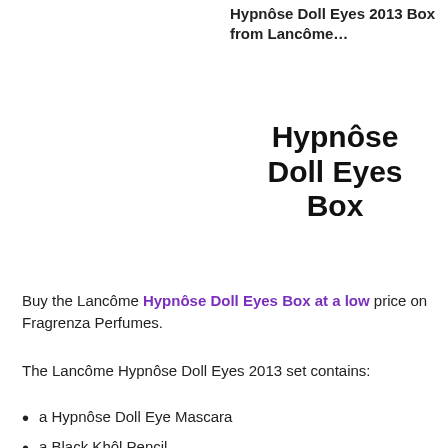Hypnôse Doll Eyes 2013 Box from Lancôme…
Hypnôse Doll Eyes Box
Buy the Lancôme Hypnôse Doll Eyes Box at a low price on Fragrenza Perfumes.
The Lancôme Hypnôse Doll Eyes 2013 set contains:
a Hypnôse Doll Eye Mascara
a Black Khôl Pencil
Bi-Facil Eye Make-up Remover 30ml